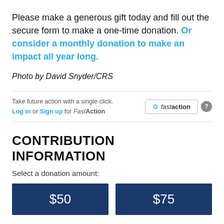Please make a generous gift today and fill out the secure form to make a one-time donation. Or consider a monthly donation to make an impact all year long.
Photo by David Snyder/CRS
Take future action with a single click. Log in or Sign up for FastAction
CONTRIBUTION INFORMATION
Select a donation amount:
$50  $75